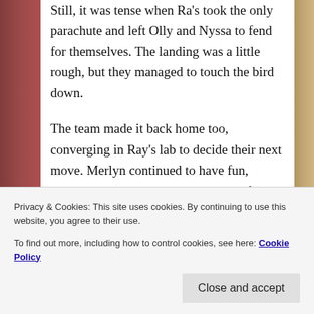Still, it was tense when Ra's took the only parachute and left Olly and Nyssa to fend for themselves. The landing was a little rough, but they managed to touch the bird down.
The team made it back home too, converging in Ray's lab to decide their next move. Merlyn continued to have fun, barking out orders to each member of the group, and standing his ground when they hesitated, ‘I’m sorry. Did I mumble?’ Diggle was the one to allow him the role of temporary leader.
Privacy & Cookies: This site uses cookies. By continuing to use this website, you agree to their use.
To find out more, including how to control cookies, see here: Cookie Policy